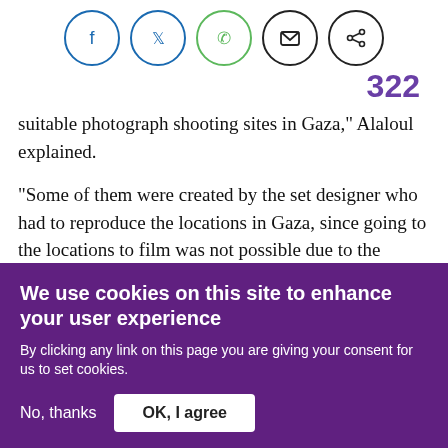[Figure (other): Social media share icons: Facebook (blue circle), Twitter (blue circle), WhatsApp (green circle), Email (black circle), Share (black circle)]
322
suitable photograph shooting sites in Gaza," Alaloul explained.
"Some of them were created by the set designer who had to reproduce the locations in Gaza, since going to the locations to film was not possible due to the blockade," he added.
We use cookies on this site to enhance your user experience
By clicking any link on this page you are giving your consent for us to set cookies.
No, thanks
OK, I agree